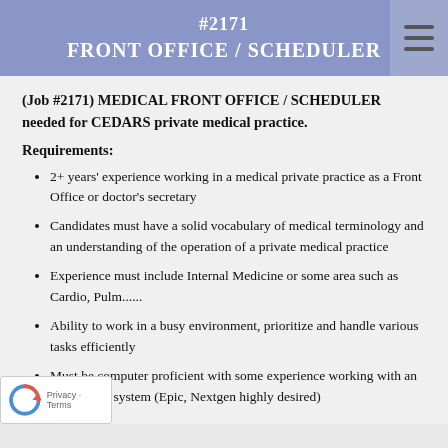#2171 FRONT OFFICE / SCHEDULER
(Job #2171) MEDICAL FRONT OFFICE / SCHEDULER needed for CEDARS private medical practice.
Requirements:
2+ years' experience working in a medical private practice as a Front Office or doctor's secretary
Candidates must have a solid vocabulary of medical terminology and an understanding of the operation of a private medical practice
Experience must include Internal Medicine or some area such as Cardio, Pulm......
Ability to work in a busy environment, prioritize and handle various tasks efficiently
Must be computer proficient with some experience working with an EMR/EHR system (Epic, Nextgen highly desired)